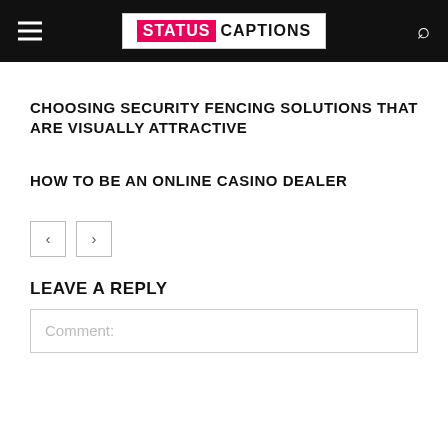STATUS CAPTIONS
CHOOSING SECURITY FENCING SOLUTIONS THAT ARE VISUALLY ATTRACTIVE
HOW TO BE AN ONLINE CASINO DEALER
< >
LEAVE A REPLY
Comment: